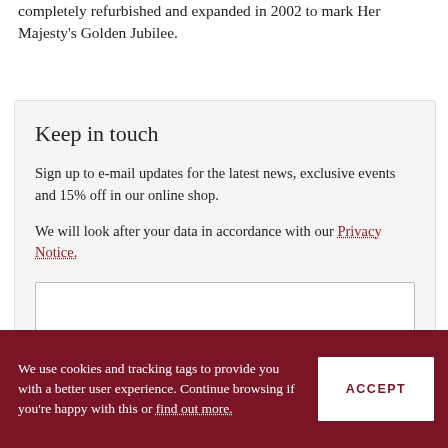completely refurbished and expanded in 2002 to mark Her Majesty's Golden Jubilee.
Keep in touch
Sign up to e-mail updates for the latest news, exclusive events and 15% off in our online shop.
We will look after your data in accordance with our Privacy Notice.
SUBSCRIBE
We use cookies and tracking tags to provide you with a better user experience. Continue browsing if you're happy with this or find out more.
ACCEPT